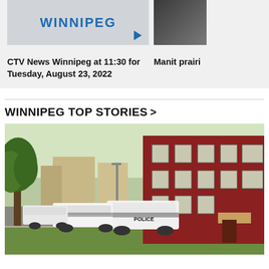[Figure (screenshot): CTV News Winnipeg video thumbnail with WINNIPEG text in blue and a play button]
CTV News Winnipeg at 11:30 for Tuesday, August 23, 2022
[Figure (photo): Partially visible thumbnail image with dark content]
Manit prairi
WINNIPEG TOP STORIES >
[Figure (photo): Street scene with multiple police cars parked along a street in front of a red brick building. A large tree is visible on the left side.]